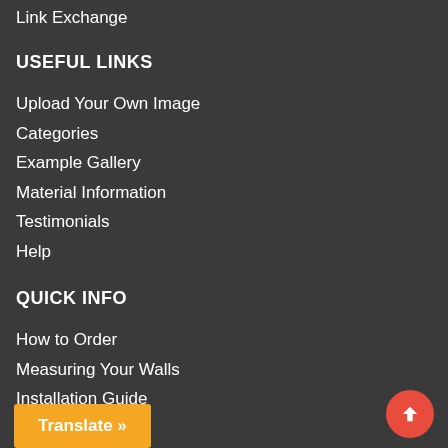Link Exchange
USEFUL LINKS
Upload Your Own Image
Categories
Example Gallery
Material Information
Testimonials
Help
QUICK INFO
How to Order
Measuring Your Walls
Installation Guide
Payment Options
Translate »